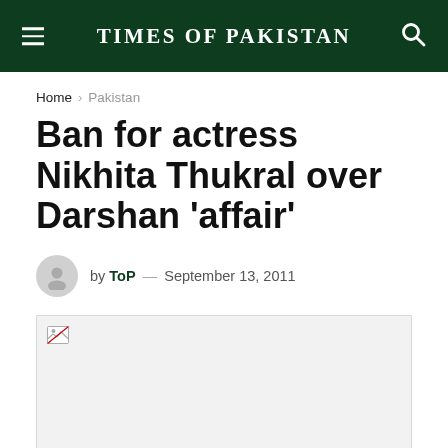TIMES OF PAKISTAN
Home > Pakistan
Ban for actress Nikhita Thukral over Darshan ‘affair’
by ToP — September 13, 2011
[Figure (photo): Broken image placeholder for article photo]